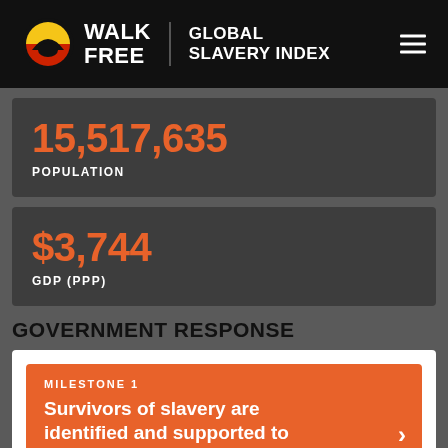Walk Free | Global Slavery Index
15,517,635
POPULATION
$3,744
GDP (PPP)
GOVERNMENT RESPONSE
MILESTONE 1
Survivors of slavery are identified and supported to